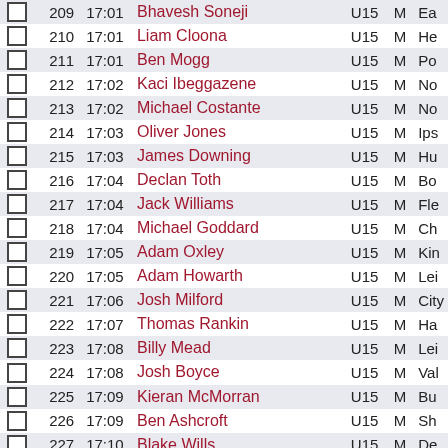|  | # | Time | Name | Cat | G | Club |
| --- | --- | --- | --- | --- | --- | --- |
| ☐ | 209 | 17:01 | Bhavesh Soneji | U15 | M | Ea... |
| ☐ | 210 | 17:01 | Liam Cloona | U15 | M | He... |
| ☐ | 211 | 17:01 | Ben Mogg | U15 | M | Po... |
| ☐ | 212 | 17:02 | Kaci Ibeggazene | U15 | M | No... |
| ☐ | 213 | 17:02 | Michael Costante | U15 | M | No... |
| ☐ | 214 | 17:03 | Oliver Jones | U15 | M | Ips... |
| ☐ | 215 | 17:03 | James Downing | U15 | M | Hu... |
| ☐ | 216 | 17:04 | Declan Toth | U15 | M | Bo... |
| ☐ | 217 | 17:04 | Jack Williams | U15 | M | Fle... |
| ☐ | 218 | 17:04 | Michael Goddard | U15 | M | Ch... |
| ☐ | 219 | 17:05 | Adam Oxley | U15 | M | Kin... |
| ☐ | 220 | 17:05 | Adam Howarth | U15 | M | Lei... |
| ☐ | 221 | 17:06 | Josh Milford | U15 | M | City... |
| ☐ | 222 | 17:07 | Thomas Rankin | U15 | M | Ha... |
| ☐ | 223 | 17:08 | Billy Mead | U15 | M | Lei... |
| ☐ | 224 | 17:08 | Josh Boyce | U15 | M | Val... |
| ☐ | 225 | 17:09 | Kieran McMorran | U15 | M | Bu... |
| ☐ | 226 | 17:09 | Ben Ashcroft | U15 | M | Sh... |
| ☐ | 227 | 17:10 | Blake Wills | U15 | M | De... |
| ☐ | 228 | 17:10 | Nick Shade | U15 | M | Ha... |